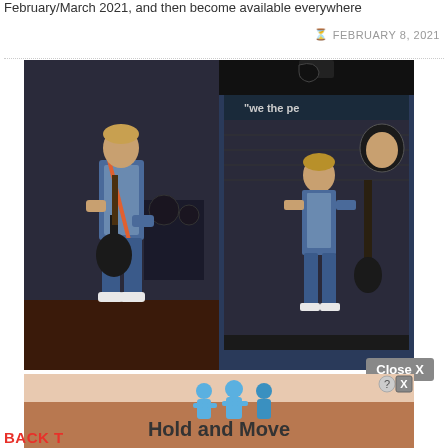February/March 2021, and then become available everywhere
FEBRUARY 8, 2021
[Figure (photo): Action figure of Marty McFly from Back to the Future, shown both out of packaging (holding guitar on stage) and in packaging (NECA figure box with accessories)]
Close X
[Figure (screenshot): Advertisement banner with 'Hold and Move' text and blue figure icons on a beige/tan background, with close (X) and question mark buttons in the top right corner]
BACK T